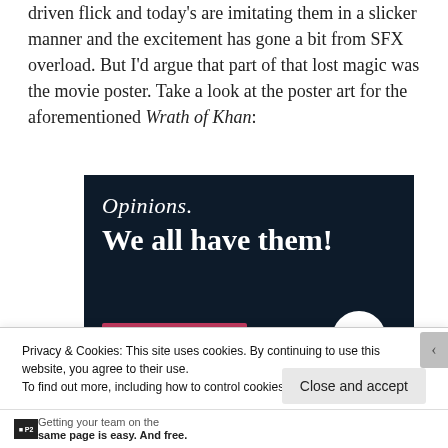driven flick and today’s are imitating them in a slicker manner and the excitement has gone a bit from SFX overload. But I’d argue that part of that lost magic was the movie poster. Take a look at the poster art for the aforementioned Wrath of Khan:
[Figure (other): Dark navy advertisement banner with italic white text reading 'Opinions.' and bold white text reading 'We all have them!' with a pink/crimson button and a white circle at the bottom right.]
Privacy & Cookies: This site uses cookies. By continuing to use this website, you agree to their use.
To find out more, including how to control cookies, see here: Cookie Policy
Close and accept
P2 Getting your team on the same page is easy. And free.